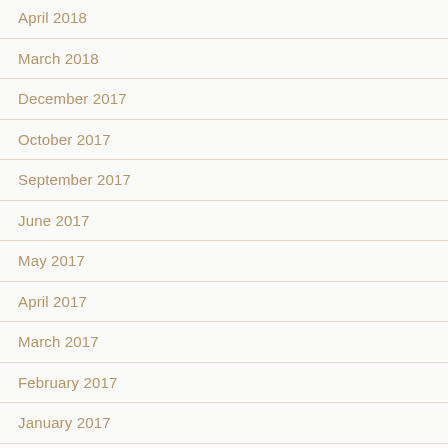April 2018
March 2018
December 2017
October 2017
September 2017
June 2017
May 2017
April 2017
March 2017
February 2017
January 2017
December 2016